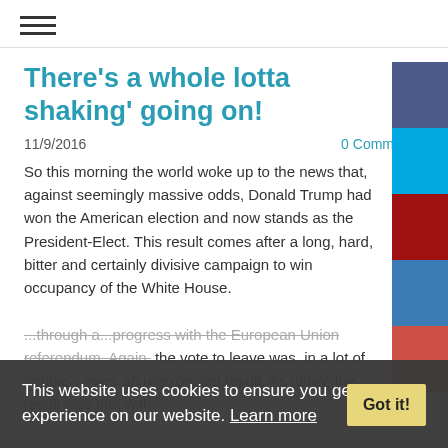☰ (hamburger menu)
There's a whole lotta shaking' going on!
11/9/2016   0 Comm
So this morning the world woke up to the news that, against seemingly massive odds, Donald Trump had won the American election and now stands as the President-Elect. This result comes after a long, hard, bitter and certainly divisive campaign to win occupancy of the White House.
...through a... with the European Union referendum. Again, the vote to leave was, in a lot of people's eye's an unexpected result. As today, the result was met with
This website uses cookies to ensure you get the best experience on our website. Learn more